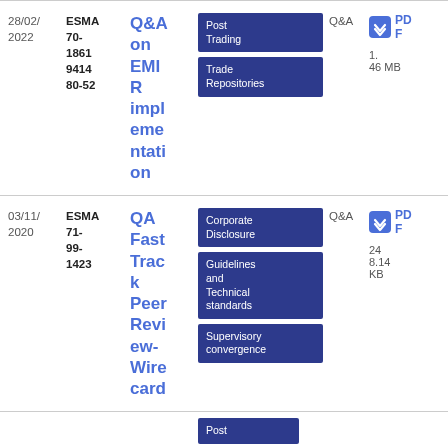| Date | Reference | Title | Categories | Type | File |
| --- | --- | --- | --- | --- | --- |
| 28/02/2022 | ESMA 70-1861 9414 80-52 | Q&A on EMIR implementation | Post Trading | Trade Repositories | Q&A | PDF 1.46 MB |
| 03/11/2020 | ESMA 71-99-1423 | QA Fast Track Peer Review-Wirecard | Corporate Disclosure | Guidelines and Technical standards | Supervisory convergence | Q&A | PDF 248.14 KB |
|  |  |  | Post |  |  |